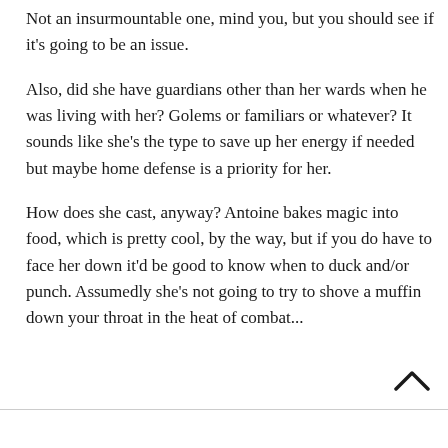Not an insurmountable one, mind you, but you should see if it's going to be an issue.
Also, did she have guardians other than her wards when he was living with her? Golems or familiars or whatever? It sounds like she's the type to save up her energy if needed but maybe home defense is a priority for her.
How does she cast, anyway? Antoine bakes magic into food, which is pretty cool, by the way, but if you do have to face her down it'd be good to know when to duck and/or punch. Assumedly she's not going to try to shove a muffin down your throat in the heat of combat...